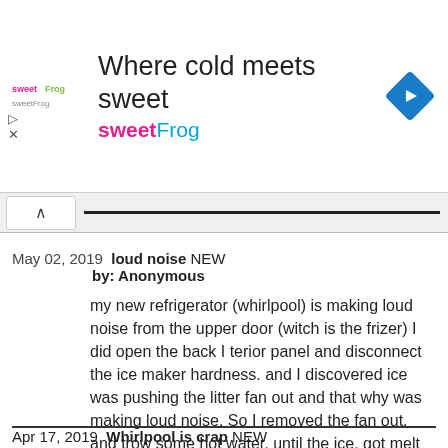[Figure (logo): sweetFrog logo with pink and green text, advertisement banner reading 'Where cold meets sweet sweetFrog' with a blue directional arrow icon]
May 02, 2019 loud noise NEW
by: Anonymous

my new refrigerator (whirlpool) is making loud noise from the upper door (witch is the frizer) I did open the back I terior panel and disconnect the ice maker hardness. and I discovered ice was pushing the litter fan out and that why was making loud noise. So I removed the fan out. and trow some hot water, until the ice. got melt once got meal. I installed everything back together. for a few days no notice and them later is the same thing again.
Apr 17, 2019 Whirlpool is crap NEW